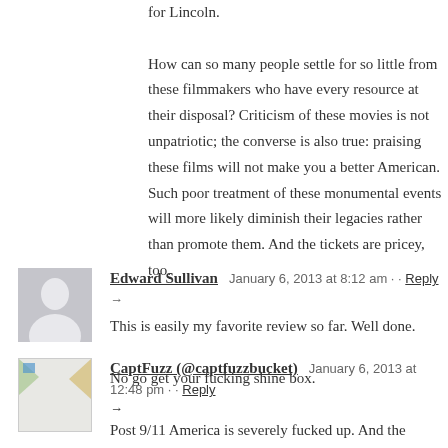for Lincoln.

How can so many people settle for so little from these filmmakers who have every resource at their disposal? Criticism of these movies is not unpatriotic; the converse is also true: praising these films will not make you a better American. Such poor treatment of these monumental events will more likely diminish their legacies rather than promote them. And the tickets are pricey, too.
Edward Sullivan — January 6, 2013 at 8:12 am — Reply →
This is easily my favorite review so far. Well done.

No go get your fucking shine box.
CaptFuzz (@captfuzzbucket) — January 6, 2013 at 12:48 pm — Reply →
Post 9/11 America is severely fucked up. And the instant praise for Bigelow's work is a case in point. It's propaganda. Not a viewpoint. I left Hurt Locker very very angry. Is that all you have to say after your